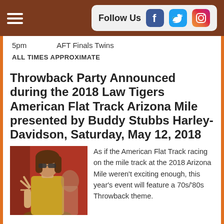Follow Us [Facebook] [Twitter] [Instagram]
5pm    AFT Finals Twins
ALL TIMES APPROXIMATE
Throwback Party Announced during the 2018 Law Tigers American Flat Track Arizona Mile presented by Buddy Stubbs Harley-Davidson, Saturday, May 12, 2018
[Figure (photo): Woman in gold outfit making peace sign in front of red background]
As if the American Flat Track racing on the mile track at the 2018 Arizona Mile weren't exciting enough, this year's event will feature a 70s/'80s Throwback theme.